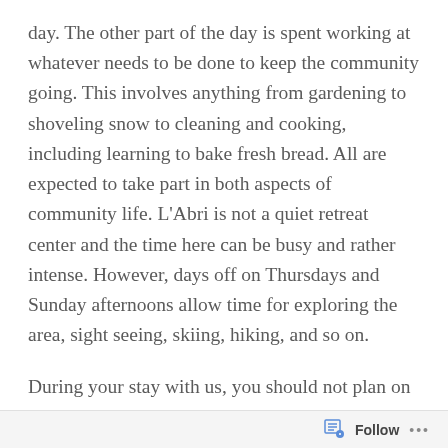day. The other part of the day is spent working at whatever needs to be done to keep the community going. This involves anything from gardening to shoveling snow to cleaning and cooking, including learning to bake fresh bread. All are expected to take part in both aspects of community life. L'Abri is not a quiet retreat center and the time here can be busy and rather intense. However, days off on Thursdays and Sunday afternoons allow time for exploring the area, sight seeing, skiing, hiking, and so on.
During your stay with us, you should not plan on touring the area except during your designated time off. (You will have all of Thursday and half of Sunday
Follow ...